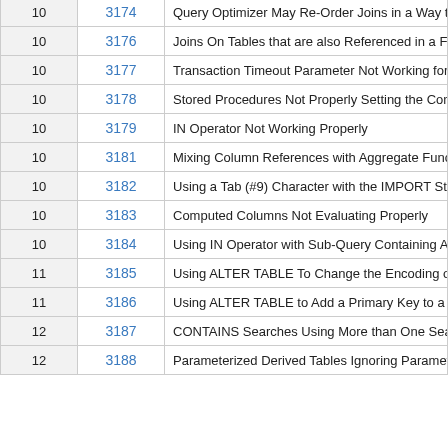| Version | SR# | Description |
| --- | --- | --- |
| 10 | 3174 | Query Optimizer May Re-Order Joins in a Way that Invalidates the Query Result |
| 10 | 3176 | Joins On Tables that are also Referenced in a FROM Clause Can Cause Performance Issues |
| 10 | 3177 | Transaction Timeout Parameter Not Working for All Sessions |
| 10 | 3178 | Stored Procedures Not Properly Setting the CommandType Property in .NET EDBCommand Class |
| 10 | 3179 | IN Operator Not Working Properly |
| 10 | 3181 | Mixing Column References with Aggregate Functions Causes #700 Error |
| 10 | 3182 | Using a Tab (#9) Character with the IMPORT Statement Can Cause Error |
| 10 | 3183 | Computed Columns Not Evaluating Properly |
| 10 | 3184 | Using IN Operator with Sub-Query Containing Aggregate Function Causes Error |
| 11 | 3185 | Using ALTER TABLE To Change the Encoding or Index Page Size Can Corrupt Table |
| 11 | 3186 | Using ALTER TABLE to Add a Primary Key to a Table with No Primary Key Can Cause Corruption |
| 12 | 3187 | CONTAINS Searches Using More than One Search Words Return Incorrect Results |
| 12 | 3188 | Parameterized Derived Tables Ignoring Parameters |